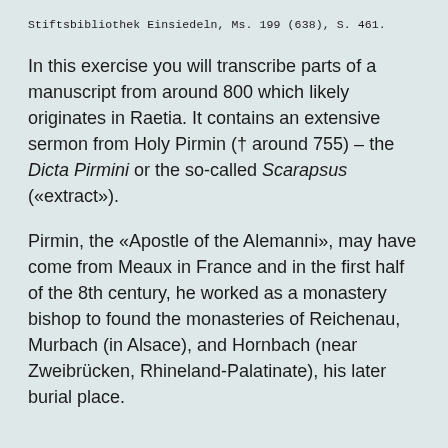Stiftsbibliothek Einsiedeln, Ms. 199 (638), S. 461.
In this exercise you will transcribe parts of a manuscript from around 800 which likely originates in Raetia. It contains an extensive sermon from Holy Pirmin († around 755) – the Dicta Pirmini or the so-called Scarapsus («extract»).
Pirmin, the «Apostle of the Alemanni», may have come from Meaux in France and in the first half of the 8th century, he worked as a monastery bishop to found the monasteries of Reichenau, Murbach (in Alsace), and Hornbach (near Zweibrücken, Rhineland-Palatinate), his later burial place.